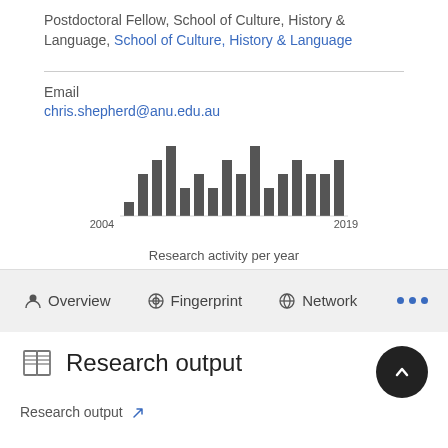Postdoctoral Fellow, School of Culture, History & Language, School of Culture, History & Language
Email
chris.shepherd@anu.edu.au
[Figure (histogram): Research activity per year]
Research activity per year
Overview   Fingerprint   Network   ...
Research output
Research output